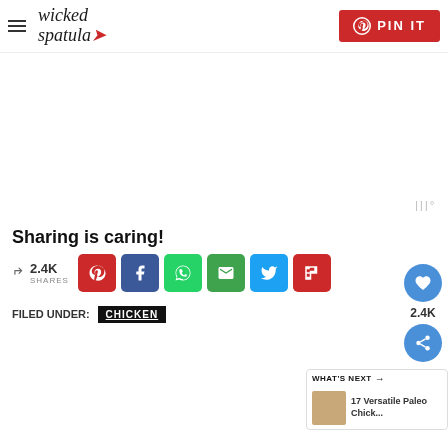wicked spatula — PIN IT
[Figure (other): Advertisement / blank area with Mediavine badge]
Sharing is caring!
2.4K SHARES — share buttons: Pinterest, Facebook, WhatsApp, Email, Twitter, Flipboard
FILED UNDER: CHICKEN
[Figure (other): Floating sidebar with heart icon showing 2.4K and share icon]
[Figure (other): What's Next panel: 17 Versatile Paleo Chick...]